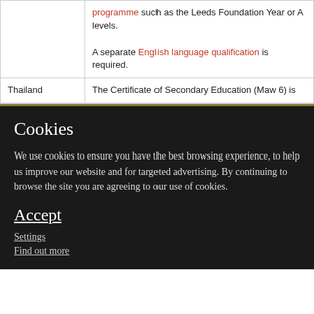| Country | Requirements |
| --- | --- |
|  | programme such as the Leeds Foundation Year or A levels.

A separate English language qualification is required. |
| Thailand | The Certificate of Secondary Education (Maw 6) is |
Cookies
We use cookies to ensure you have the best browsing experience, to help us improve our website and for targeted advertising. By continuing to browse the site you are agreeing to our use of cookies.
Accept
Settings
Find out more